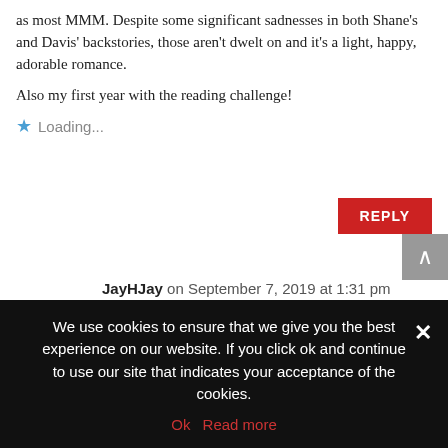as most MMM. Despite some significant sadnesses in both Shane's and Davis' backstories, those aren't dwelt on and it's a light, happy, adorable romance.
Also my first year with the reading challenge!
Loading...
REPLY
JayHJay on September 7, 2019 at 1:31 pm
Welcome to the Reading challenge Rhonda! So glad you are doing us this year! And I'm glad to hear you liked your choice for NTM author week. I am actually
We use cookies to ensure that we give you the best experience on our website. If you click ok and continue to use our site that indicates your acceptance of the cookies.
Ok   Read more